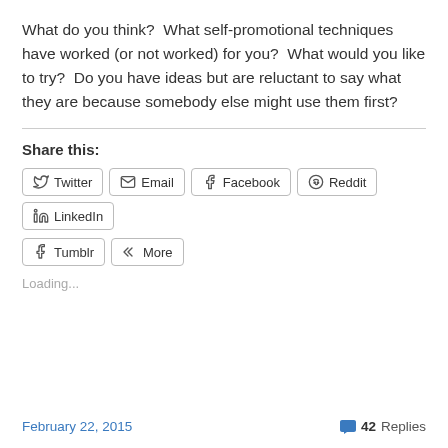What do you think?  What self-promotional techniques have worked (or not worked) for you?  What would you like to try?  Do you have ideas but are reluctant to say what they are because somebody else might use them first?
Share this:
Twitter | Email | Facebook | Reddit | LinkedIn | Tumblr | More
Loading...
February 22, 2015   42 Replies